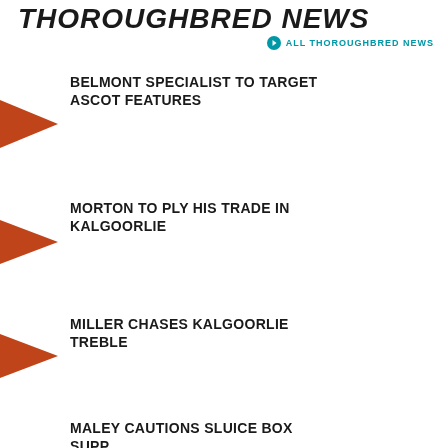THOROUGHBRED NEWS
ALL THOROUGHBRED NEWS
BELMONT SPECIALIST TO TARGET ASCOT FEATURES
MORTON TO PLY HIS TRADE IN KALGOORLIE
MILLER CHASES KALGOORLIE TREBLE
MALEY CAUTIONS SLUICE BOX SUPPORTERS